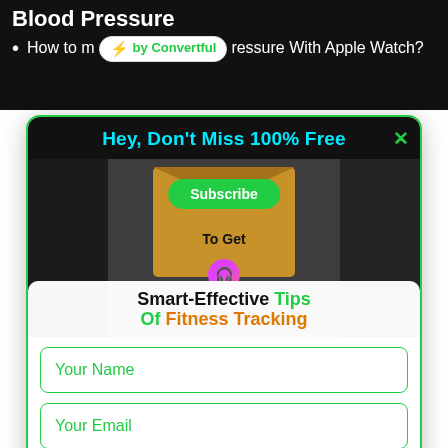Blood Pressure
How to measure Blood Pressure With Apple Watch?
[Figure (screenshot): Email subscription popup modal with header 'Hey, Don't Miss 100% Free', an envelope image with Subscribe button, text 'Smart-Effective Tips Of Fitness Tracking', name and email input fields, and a green Subscribe button.]